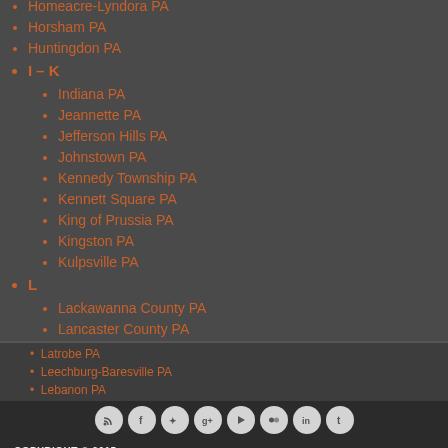Homeacre-Lyndora PA
Horsham PA
Huntingdon PA
I – K
Indiana PA
Jeannette PA
Jefferson Hills PA
Johnstown PA
Kennedy Township PA
Kennett Square PA
King of Prussia PA
Kingston PA
Kulpsville PA
L
Lackawanna County PA
Lancaster County PA
Lancaster PA
Lansdale PA
Latrobe PA
Leechburg-Burrell ville PA
Lebanon PA
COPYRIGHT © 2015